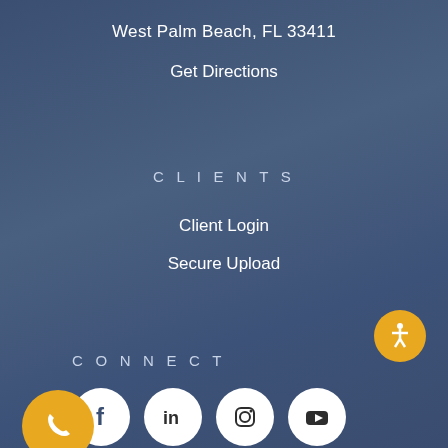West Palm Beach, FL 33411
Get Directions
CLIENTS
Client Login
Secure Upload
CONNECT
[Figure (infographic): Social media icons: Facebook, LinkedIn, Instagram, YouTube]
[Figure (infographic): Accessibility icon button (yellow circle with person figure)]
[Figure (infographic): Phone call button (yellow circle with phone icon)]